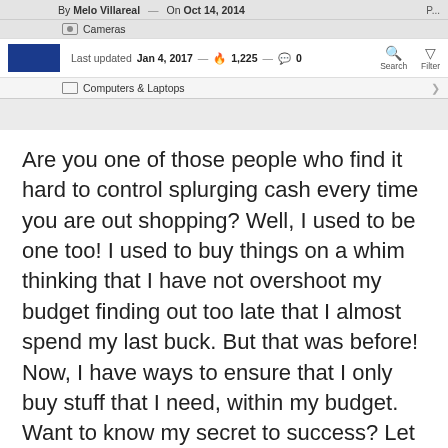[Figure (screenshot): Mobile app screenshot showing article header with author 'Melo Villareal', date 'Oct 14, 2014', last updated 'Jan 4, 2017', fire/comment icons, category navigation for Cameras and Computers & Laptops, search and filter icons.]
Are you one of those people who find it hard to control splurging cash every time you are out shopping? Well, I used to be one too! I used to buy things on a whim thinking that I have not overshoot my budget finding out too late that I almost spend my last buck. But that was before! Now, I have ways to ensure that I only buy stuff that I need, within my budget. Want to know my secret to success? Let me share you my shopping tips.